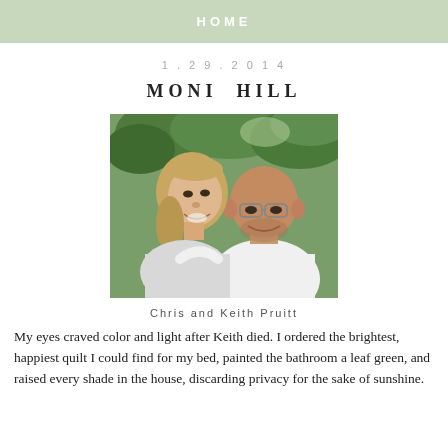HOME
1.29.2014
MONI HILL
[Figure (photo): A couple, Chris and Keith Pruitt, smiling outdoors with green trees in the background. A woman with blonde hair on the left and a bald man with glasses on the right wearing a white t-shirt.]
Chris and Keith Pruitt
My eyes craved color and light after Keith died. I ordered the brightest, happiest quilt I could find for my bed, painted the bathroom a leaf green, and raised every shade in the house, discarding privacy for the sake of sunshine.